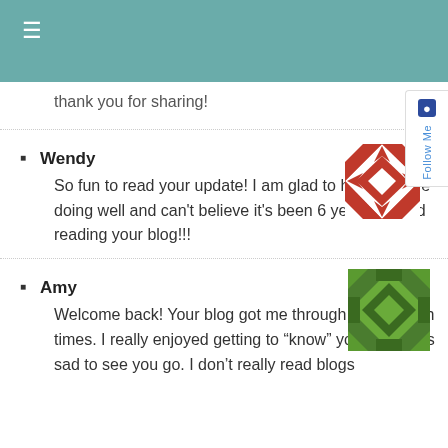≡
thank you for sharing!
Wendy — So fun to read your update! I am glad to hear you are doing well and can't believe it's been 6 years. I loved reading your blog!!!
Amy — Welcome back! Your blog got me through some tough times. I really enjoyed getting to "know" you and I was sad to see you go. I don't really read blogs